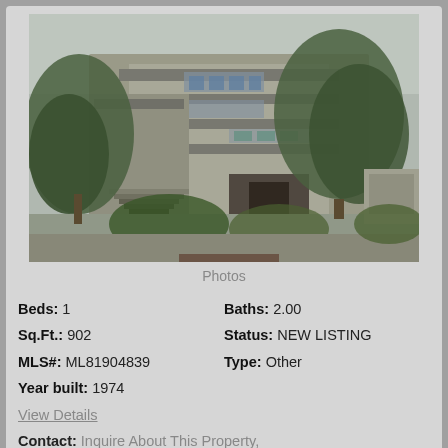[Figure (photo): Exterior photo of a multi-story modern residential building with trees and landscaping in foreground, stairs visible on left side, overcast sky]
Photos
Beds: 1    Baths: 2.00
Sq.Ft.: 902    Status: NEW LISTING
MLS#: ML81904839    Type: Other
Year built: 1974
View Details
Contact: Inquire About This Property,